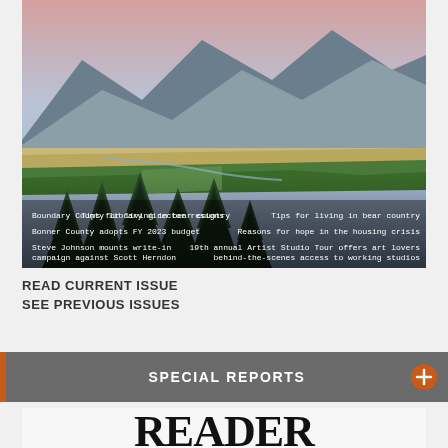[Figure (photo): Aerial landscape photo of Bonner County area showing mountain range, farmland fields, evergreen trees in foreground, with text overlays listing news headlines on the magazine cover]
READ CURRENT ISSUE
SEE PREVIOUS ISSUES
SPECIAL REPORTS